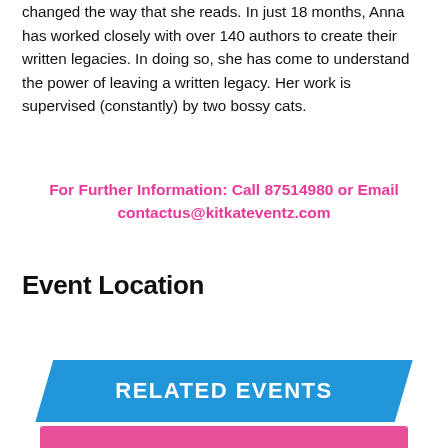changed the way that she reads. In just 18 months, Anna has worked closely with over 140 authors to create their written legacies. In doing so, she has come to understand the power of leaving a written legacy. Her work is supervised (constantly) by two bossy cats.
For Further Information: Call 87514980 or Email contactus@kitkateventz.com
Event Location
RELATED EVENTS
[Figure (other): Pink bar at bottom of page, partial view of related events section]